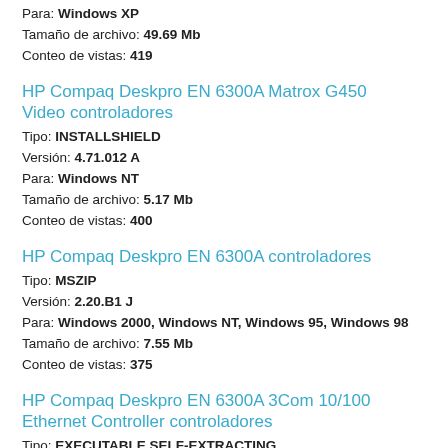Para: Windows XP
Tamaño de archivo: 49.69 Mb
Conteo de vistas: 419
HP Compaq Deskpro EN 6300A Matrox G450 Video controladores
Tipo: INSTALLSHIELD
Versión: 4.71.012 A
Para: Windows NT
Tamaño de archivo: 5.17 Mb
Conteo de vistas: 400
HP Compaq Deskpro EN 6300A controladores
Tipo: MSZIP
Versión: 2.20.B1 J
Para: Windows 2000, Windows NT, Windows 95, Windows 98
Tamaño de archivo: 7.55 Mb
Conteo de vistas: 375
HP Compaq Deskpro EN 6300A 3Com 10/100 Ethernet Controller controladores
Tipo: EXECUTABLE SELF-EXTRACTING